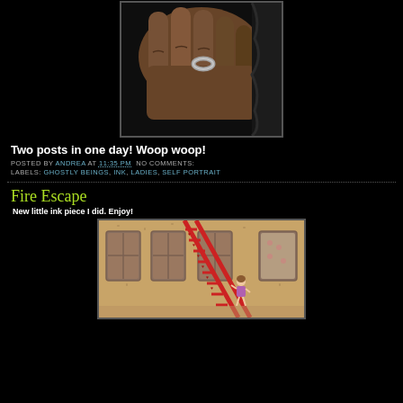[Figure (photo): Close-up photo of a hand with a silver ring, dark background]
Two posts in one day! Woop woop!
POSTED BY ANDREA AT 11:35 PM  NO COMMENTS:
LABELS: GHOSTLY BEINGS, INK, LADIES, SELF PORTRAIT
Fire Escape
New little ink piece I did. Enjoy!
[Figure (illustration): Watercolor/ink illustration of a fire escape scene with a building facade showing windows and a red diagonal fire escape ladder with a small cartoon figure]